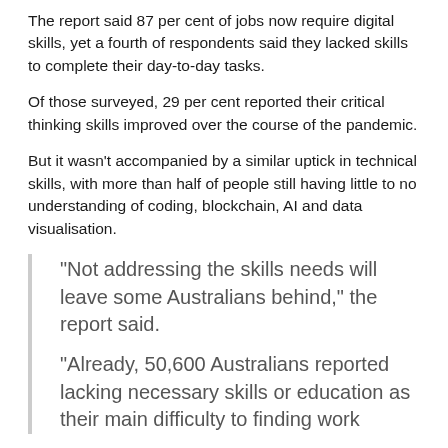The report said 87 per cent of jobs now require digital skills, yet a fourth of respondents said they lacked skills to complete their day-to-day tasks.
Of those surveyed, 29 per cent reported their critical thinking skills improved over the course of the pandemic.
But it wasn't accompanied by a similar uptick in technical skills, with more than half of people still having little to no understanding of coding, blockchain, AI and data visualisation.
“Not addressing the skills needs will leave some Australians behind,” the report said.
“Already, 50,600 Australians reported lacking necessary skills or education as their main difficulty to finding work